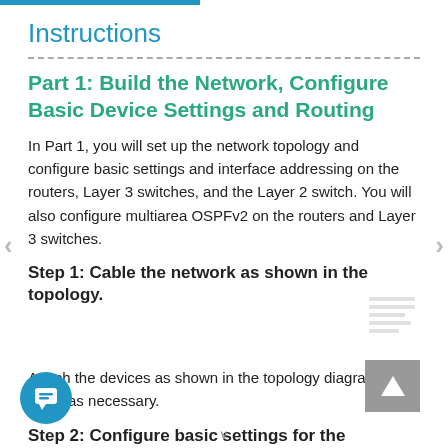Instructions
Part 1: Build the Network, Configure Basic Device Settings and Routing
In Part 1, you will set up the network topology and configure basic settings and interface addressing on the routers, Layer 3 switches, and the Layer 2 switch. You will also configure multiarea OSPFv2 on the routers and Layer 3 switches.
Step 1: Cable the network as shown in the topology.
Attach the devices as shown in the topology diagram, and cable as necessary.
Step 2: Configure basic settings for the